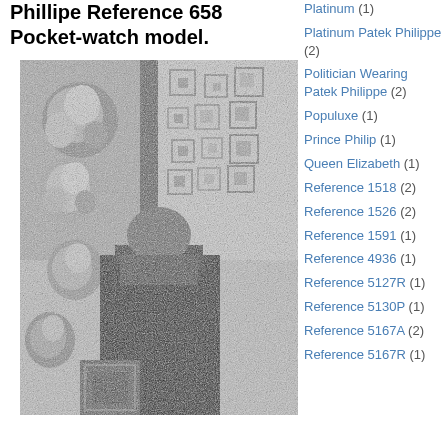Phillipe Reference 658 Pocket-watch model.
[Figure (photo): Black and white photograph of a person standing in front of a decorative background with floral arrangements visible.]
Platinum (1)
Platinum Patek Philippe (2)
Politician Wearing Patek Philippe (2)
Populuxe (1)
Prince Philip (1)
Queen Elizabeth (1)
Reference 1518 (2)
Reference 1526 (2)
Reference 1591 (1)
Reference 4936 (1)
Reference 5127R (1)
Reference 5130P (1)
Reference 5167A (2)
Reference 5167R (1)